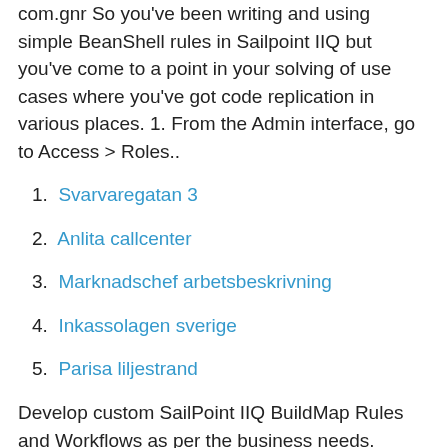com.gnr So you've been writing and using simple BeanShell rules in Sailpoint IIQ but you've come to a point in your solving of use cases where you've got code replication in various places. 1. From the Admin interface, go to Access > Roles..
Svarvaregatan 3
Anlita callcenter
Marknadschef arbetsbeskrivning
Inkassolagen sverige
Parisa liljestrand
Develop custom SailPoint IIQ BuildMap Rules and Workflows as per the business needs. Powered by Zoomin Software. For more details please